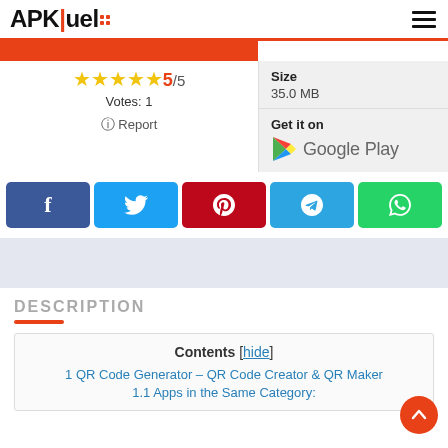APKFuel
[Figure (screenshot): Orange download button bar (partially visible)]
★★★★★ 5/5
Votes: 1
⊙ Report
Size
35.0 MB
Get it on
Google Play
[Figure (infographic): Social share buttons row: Facebook, Twitter, Pinterest, Telegram, WhatsApp]
[Figure (other): Advertisement/ad banner area (light blue-grey band)]
DESCRIPTION
Contents [hide]
1 QR Code Generator – QR Code Creator & QR Maker
1.1 Apps in the Same Category: